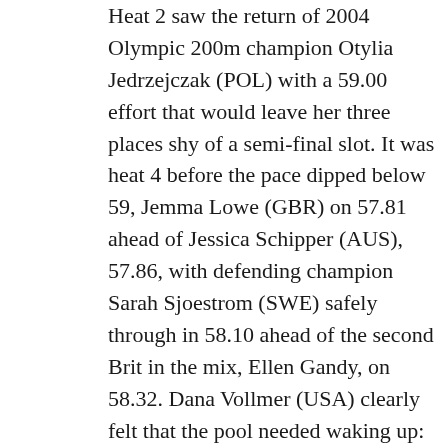Heat 2 saw the return of 2004 Olympic 200m champion Otylia Jedrzejczak (POL) with a 59.00 effort that would leave her three places shy of a semi-final slot. It was heat 4 before the pace dipped below 59, Jemma Lowe (GBR) on 57.81 ahead of Jessica Schipper (AUS), 57.86, with defending champion Sarah Sjoestrom (SWE) safely through in 58.10 ahead of the second Brit in the mix, Ellen Gandy, on 58.32. Dana Vollmer (USA) clearly felt that the pool needed waking up: in 56.97 she put some clear blue water between her and the rest in heat 5, Jeanette Ottesen (DEN) next through in 58.32. The last eight knew what was needed but Alicia Coytts (AUS) left